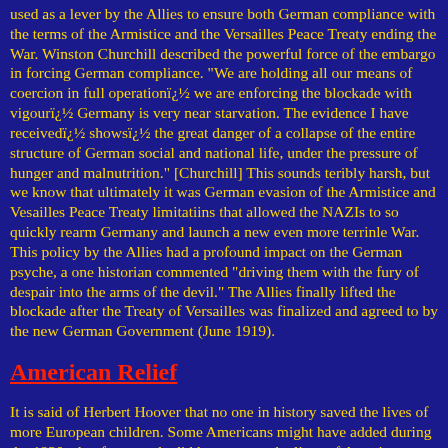used as a lever by the Allies to ensure both German compliance with the terms of the Armistice and the Versailles Peace Treaty ending the War. Winston Churchill described the powerful force of the embargo in forcing German compliance. "We are holding all our means of coercion in full operationï¿½ we are enforcing the blockade with vigourï¿½ Germany is very near starvation. The evidence I have receivedï¿½ showsï¿½ the great danger of a collapse of the entire structure of German social and national life, under the pressure of hunger and malnutrition." [Churchill] This sounds teribly harsh, but we know that ultimately it was German evasion of the Armistice and Vesailles Peace Treaty limitatiins that allowed the NAZIs to so quickly rearm Germany and launch a new even more terrinle War. This policy by the Allies had a profound impact on the German psyche, a one historian commented "driving them with the fury of despair into the arms of the devil." The Allies finally lifted the blockade after the Treaty of Versailles was finalized and agreed to by the new German Government (June 1919).
American Relief
It is said of Herbert Hoover that no one in history saved the lives of more European children. Some Americans might have added during the 1930s that few people did less to save the lives of American children during the Depression. One week before